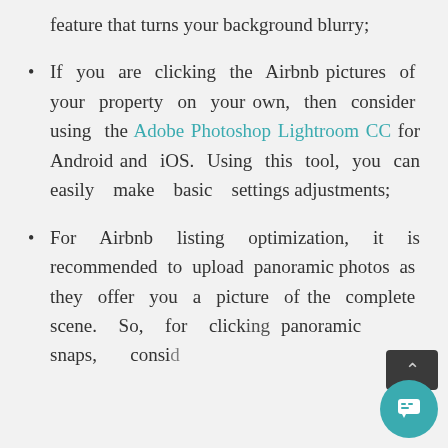feature that turns your background blurry;
If you are clicking the Airbnb pictures of your property on your own, then consider using the Adobe Photoshop Lightroom CC for Android and iOS. Using this tool, you can easily make basic settings adjustments;
For Airbnb listing optimization, it is recommended to upload panoramic photos as they offer you a picture of the complete scene. So, for clicking panoramic snaps, conside...